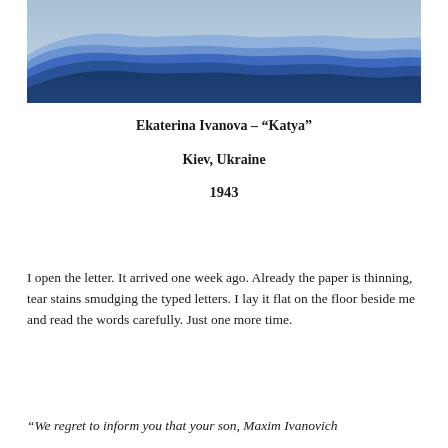[Figure (illustration): Layered blue mountain silhouettes painting — multiple ridgelines in varying shades of blue fading into a light blue sky, giving a misty atmospheric depth effect.]
Ekaterina Ivanova – “Katya”
Kiev, Ukraine
1943
I open the letter. It arrived one week ago. Already the paper is thinning, tear stains smudging the typed letters. I lay it flat on the floor beside me and read the words carefully. Just one more time.
“We regret to inform you that your son, Maxim Ivanovich